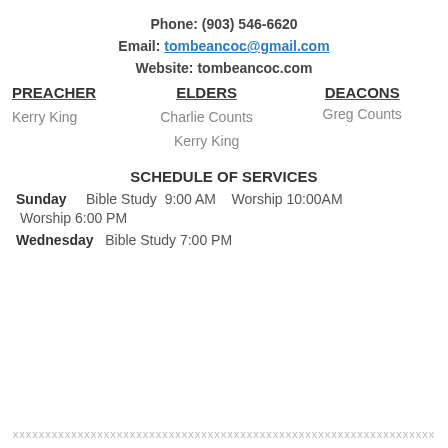Phone: (903) 546-6620
Email: tombeancoc@gmail.com
Website: tombeancoc.com
ELDERS
DEACONS
PREACHER
Charlie Counts
Greg Counts
Kerry King
Kerry King
SCHEDULE OF SERVICES
Sunday   Bible Study  9:00 AM   Worship 10:00AM  Worship 6:00 PM
Wednesday  Bible Study 7:00 PM
xxxxxxxxxxxxxxxxxxxxxxxxxxxxxxxxxxxxxxxxxxxxxxxxxxxxxxxxxxxxxxxxx